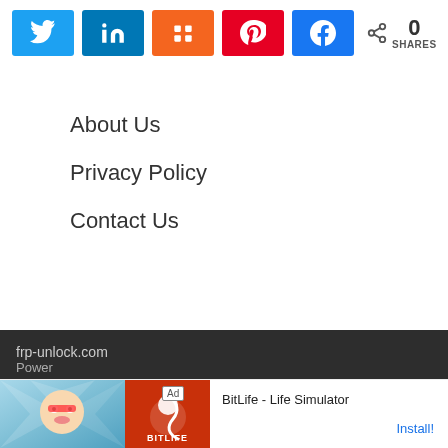[Figure (infographic): Social sharing buttons: Twitter (blue), LinkedIn (dark blue), Mix (orange), Pinterest (red), Facebook (blue), with share count showing 0 SHARES]
About Us
Privacy Policy
Contact Us
frp-unlock.com
Powered by...
[Figure (screenshot): Ad banner: BitLife - Life Simulator with Install! button]